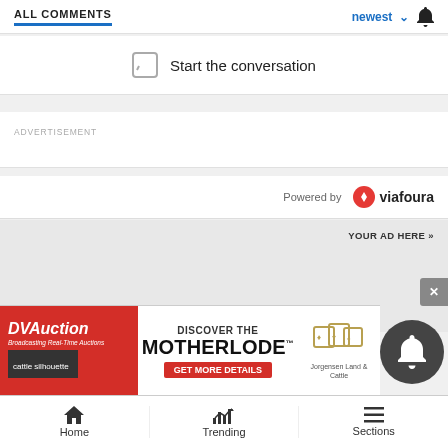ALL COMMENTS
newest
Start the conversation
ADVERTISEMENT
Powered by viafoura
YOUR AD HERE »
[Figure (photo): DVAuction banner ad - DISCOVER THE MOTHERLODE, GET MORE DETAILS, Jorgensen Land & Cattle]
Home | Trending | Sections